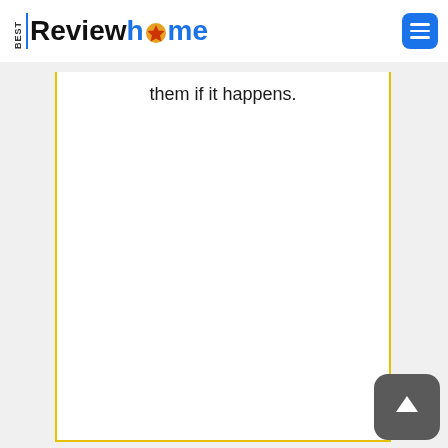BEST Reviewhome
them if it happens.
[Figure (other): Back to top arrow button, dark gray rounded square with white upward arrow]